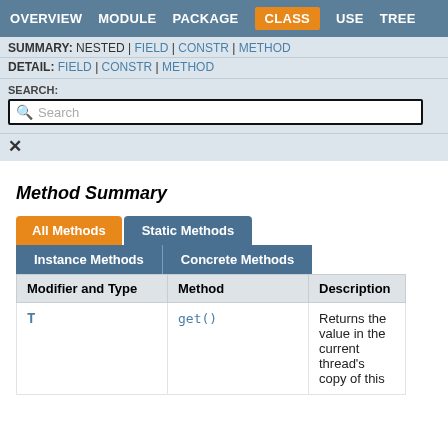OVERVIEW  MODULE  PACKAGE  CLASS  USE  TREE
SUMMARY: NESTED | FIELD | CONSTR | METHOD
DETAIL: FIELD | CONSTR | METHOD
SEARCH:
Search
Method Summary
| Modifier and Type | Method | Description |
| --- | --- | --- |
| T | get() | Returns the value in the current thread's copy of this |